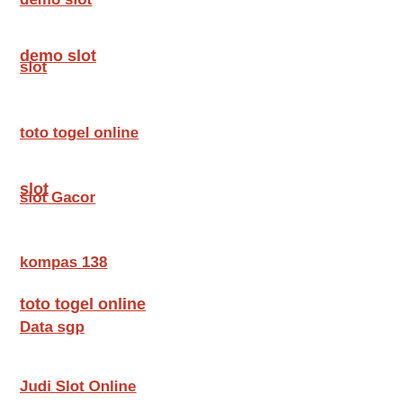demo slot
slot
toto togel online
slot Gacor
kompas 138
Data sgp
Judi Slot Online